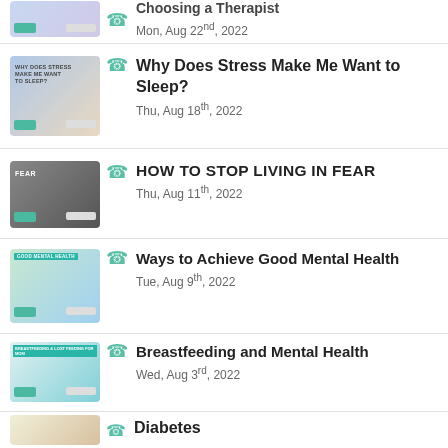Choosing a Therapist
Mon, Aug 22nd, 2022
Why Does Stress Make Me Want to Sleep?
Thu, Aug 18th, 2022
HOW TO STOP LIVING IN FEAR
Thu, Aug 11th, 2022
Ways to Achieve Good Mental Health
Tue, Aug 9th, 2022
Breastfeeding and Mental Health
Wed, Aug 3rd, 2022
Diabetes